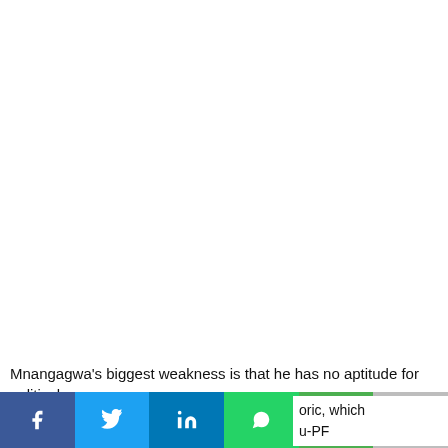Mnangagwa's biggest weakness is that he has no aptitude for political
[Figure (other): Social media share bar with buttons for Facebook, Twitter, LinkedIn, WhatsApp, SMS, and More (+)]
oric, which u-PF